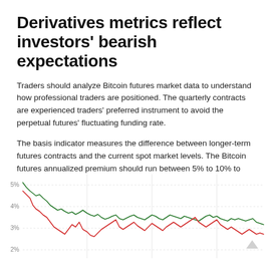Derivatives metrics reflect investors' bearish expectations
Traders should analyze Bitcoin futures market data to understand how professional traders are positioned. The quarterly contracts are experienced traders' preferred instrument to avoid the perpetual futures' fluctuating funding rate.
The basis indicator measures the difference between longer-term futures contracts and the current spot market levels. The Bitcoin futures annualized premium should run between 5% to 10% to compensate traders for "locking in" the money for two to three months until the contract expiry.
[Figure (continuous-plot): Line chart showing two lines (green and red/orange) tracking Bitcoin futures basis/annualized premium over time. Y-axis shows percentage values visible at 5%, 4%, 3%, 2%. The green line stays above the red line for most of the chart. Both lines show a declining trend from left to right, starting near 5% and trending down toward 2-3%.]